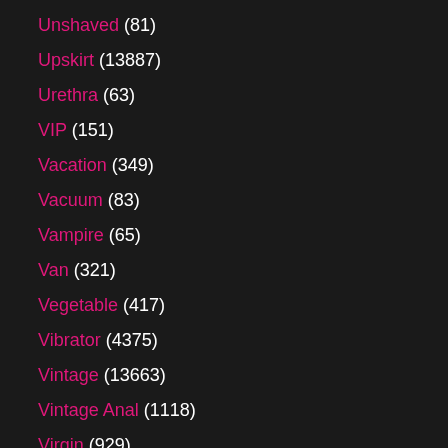Unshaved (81)
Upskirt (13887)
Urethra (63)
VIP (151)
Vacation (349)
Vacuum (83)
Vampire (65)
Van (321)
Vegetable (417)
Vibrator (4375)
Vintage (13663)
Vintage Anal (1118)
Virgin (929)
Virtual (237)
Vixen (638)
Voluptuous (260)